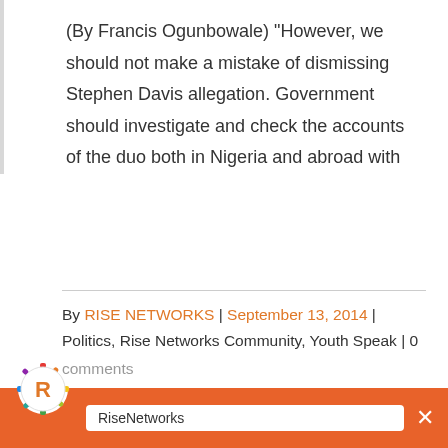(By Francis Ogunbowale) "However, we should not make a mistake of dismissing Stephen Davis allegation. Government should investigate and check the accounts of the duo both in Nigeria and abroad with
By RISE NETWORKS | September 13, 2014 | Politics, Rise Networks Community, Youth Speak | 0 comments
[Figure (screenshot): RiseNetworks chat widget popup with orange header bar, circular logo with R, greeting 'How can we help? We're here for you!', reply input field, and 'Chat by Drift' footer]